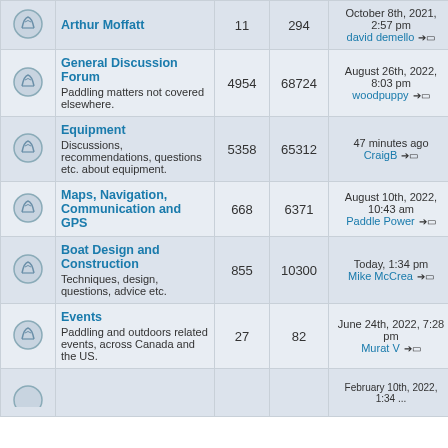| Icon | Forum | Topics | Posts | Last Post |
| --- | --- | --- | --- | --- |
| [icon] | Arthur Moffatt | 11 | 294 | October 8th, 2021, 2:57 pm
david demello |
| [icon] | General Discussion Forum
Paddling matters not covered elsewhere. | 4954 | 68724 | August 26th, 2022, 8:03 pm
woodpuppy |
| [icon] | Equipment
Discussions, recommendations, questions etc. about equipment. | 5358 | 65312 | 47 minutes ago
CraigB |
| [icon] | Maps, Navigation, Communication and GPS | 668 | 6371 | August 10th, 2022, 10:43 am
Paddle Power |
| [icon] | Boat Design and Construction
Techniques, design, questions, advice etc. | 855 | 10300 | Today, 1:34 pm
Mike McCrea |
| [icon] | Events
Paddling and outdoors related events, across Canada and the US. | 27 | 82 | June 24th, 2022, 7:28 pm
Murat V |
| [icon] | ... |  |  | February 10th, 2022, 1:34 ... |